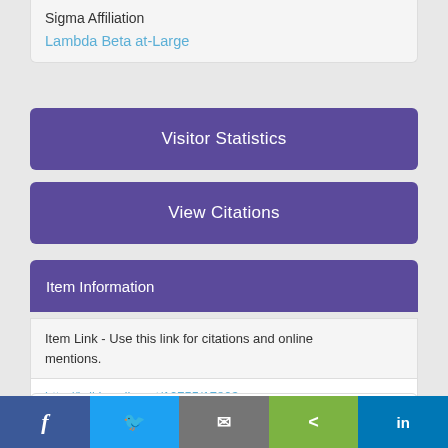Sigma Affiliation
Lambda Beta at-Large
Visitor Statistics
View Citations
Item Information
Item Link - Use this link for citations and online mentions.
http://hdl.handle.net/10755/17803
Abstract